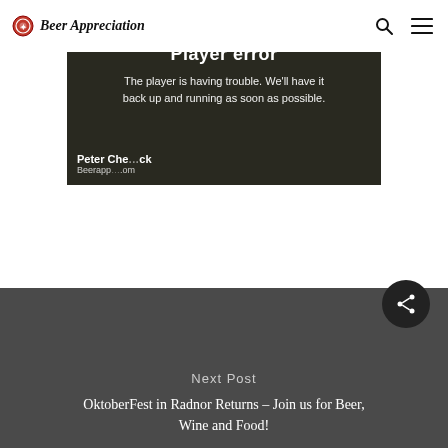Beer Appreciation
[Figure (screenshot): Video player error screen showing 'Player error' title and message 'The player is having trouble. We'll have it back up and running as soon as possible.' with person credit 'Peter Che...ck' and 'Beerapp...om']
Next Post
OktoberFest in Radnor Returns – Join us for Beer, Wine and Food!